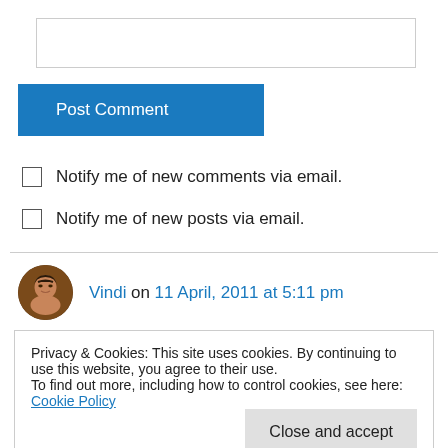[Figure (screenshot): Text input box (comment field)]
[Figure (screenshot): Post Comment button (blue)]
Notify me of new comments via email.
Notify me of new posts via email.
Vindi on 11 April, 2011 at 5:11 pm
Privacy & Cookies: This site uses cookies. By continuing to use this website, you agree to their use.
To find out more, including how to control cookies, see here: Cookie Policy
[Figure (screenshot): Close and accept button]
painterly evocations of Sri Lanka (albeit very